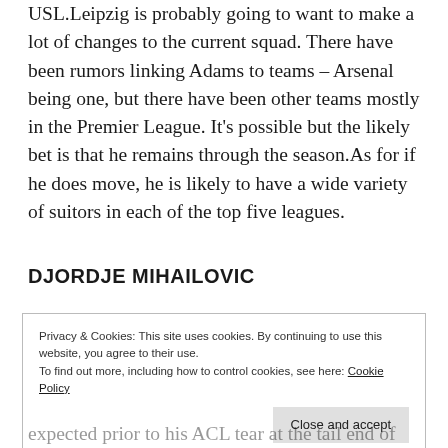USL.Leipzig is probably going to want to make a lot of changes to the current squad. There have been rumors linking Adams to teams – Arsenal being one, but there have been other teams mostly in the Premier League. It's possible but the likely bet is that he remains through the season.As for if he does move, he is likely to have a wide variety of suitors in each of the top five leagues.
DJORDJE MIHAILOVIC
Privacy & Cookies: This site uses cookies. By continuing to use this website, you agree to their use.
To find out more, including how to control cookies, see here: Cookie Policy
expected prior to his ACL tear at the tail end of